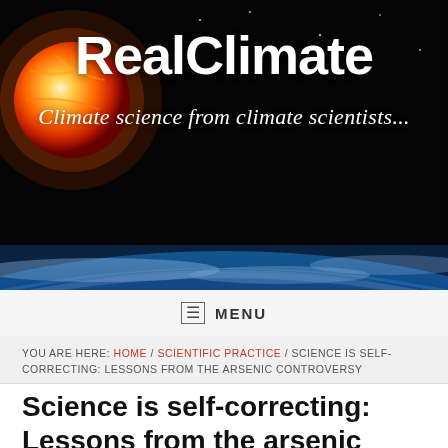[Figure (photo): RealClimate website banner showing a red sun/star on the left and Earth's atmosphere from space on the right, with site title and tagline overlaid in white text]
RealClimate
Climate science from climate scientists...
MENU
YOU ARE HERE: HOME / SCIENTIFIC PRACTICE / SCIENCE IS SELF-CORRECTING: LESSONS FROM THE ARSENIC CONTROVERSY
Science is self-correcting: Lessons from the arsenic controversy